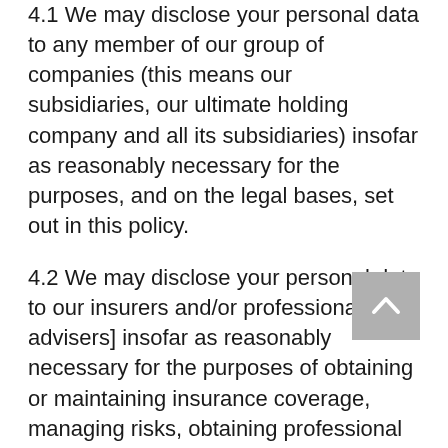4.1 We may disclose your personal data to any member of our group of companies (this means our subsidiaries, our ultimate holding company and all its subsidiaries) insofar as reasonably necessary for the purposes, and on the legal bases, set out in this policy.
4.2 We may disclose your personal data to our insurers and/or professional advisers] insofar as reasonably necessary for the purposes of obtaining or maintaining insurance coverage, managing risks, obtaining professional advice, or the establishment, exercise or defence of legal claims, whether in court proceedings or in an administrative or out-of-court procedure.
4.3 We may disclose your account data and usage data to Visitor Analytics, to our suppliers or subcontractors (Alternative Third-party) to of…